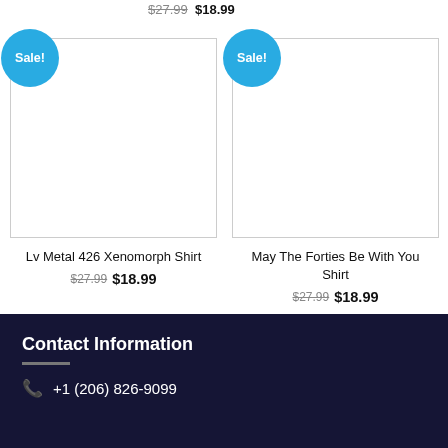$27.99  $18.99
[Figure (other): Product card with Sale badge for Lv Metal 426 Xenomorph Shirt]
[Figure (other): Product card with Sale badge for May The Forties Be With You Shirt]
Lv Metal 426 Xenomorph Shirt
$27.99  $18.99
May The Forties Be With You Shirt
$27.99  $18.99
Contact Information
+1 (206) 826-9099